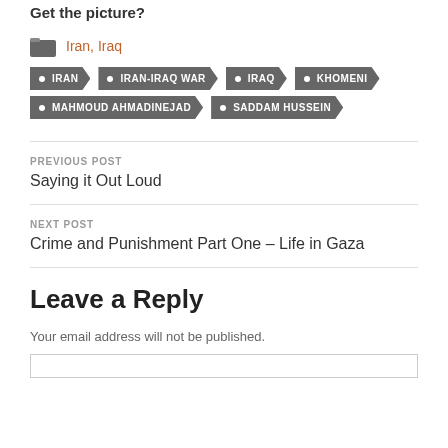Get the picture?
Iran, Iraq
IRAN
IRAN-IRAQ WAR
IRAQ
KHOMENI
MAHMOUD AHMADINEJAD
SADDAM HUSSEIN
PREVIOUS POST
Saying it Out Loud
NEXT POST
Crime and Punishment Part One – Life in Gaza
Leave a Reply
Your email address will not be published.